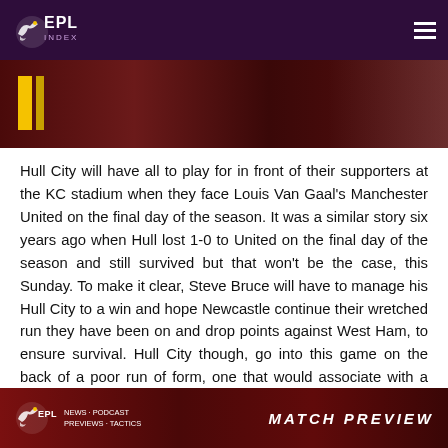EPL Index
[Figure (photo): Sports image strip showing football/soccer related imagery with dark red background and yellow stripe element]
Hull City will have all to play for in front of their supporters at the KC stadium when they face Louis Van Gaal's Manchester United on the final day of the season. It was a similar story six years ago when Hull lost 1-0 to United on the final day of the season and still survived but that won't be the case, this Sunday. To make it clear, Steve Bruce will have to manage his Hull City to a win and hope Newcastle continue their wretched run they have been on and drop points against West Ham, to ensure survival. Hull City though, go into this game on the back of a poor run of form, one that would associate with a team that is going down, with 6 defeats in their last 8 games and will fight tooth and nail to give themselves a chance to stay up.
[Figure (logo): EPL Index Match Preview banner at bottom of page]